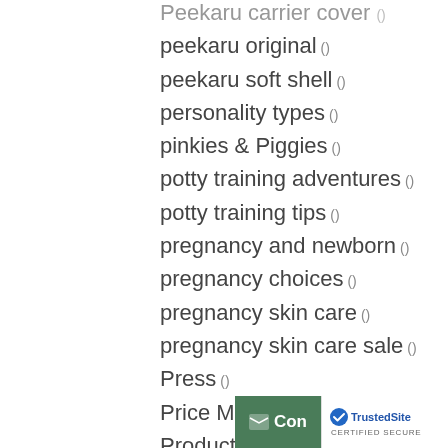Peekaru carrier cover ()
peekaru original ()
peekaru soft shell ()
personality types ()
pinkies & Piggies ()
potty training adventures ()
potty training tips ()
pregnancy and newborn ()
pregnancy choices ()
pregnancy skin care ()
pregnancy skin care sale ()
Press ()
Price Mark downs ()
Products ()